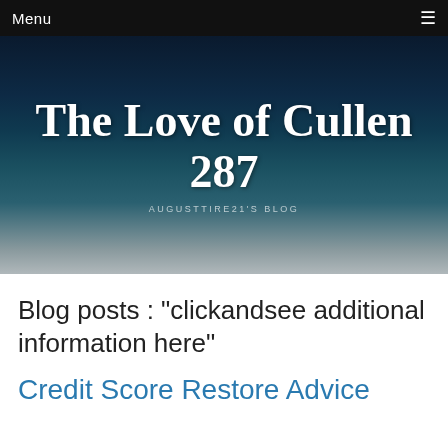Menu
[Figure (illustration): Blog hero banner with dark starry night sky background and script text reading 'The Love of Cullen 287' with subtitle 'AUGUSTTIRE21'S BLOG']
The Love of Cullen 287
AUGUSTTIRE21'S BLOG
Blog posts : "clickandsee additional information here"
Credit Score Restore Advice